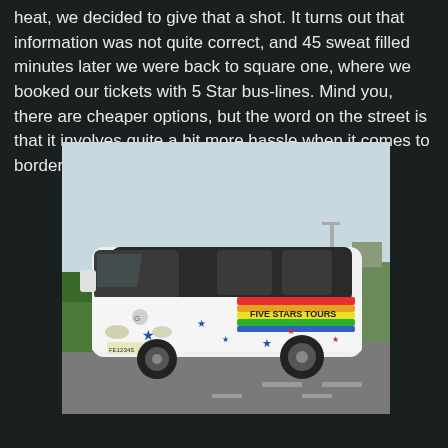heat, we decided to give that a shot. It turns out that information was not quite correct, and 45 sweat filled minutes later we were back to square one, where we booked our tickets with 5 Star bus-lines. Mind you, there are cheaper options, but the word on the street is that it involves quite a bit more hassle when it comes to border crossings.
[Figure (photo): A white Five Stars Tours coach bus parked on a road. The bus has a rainbow stripe design on the side along with colorful star decorations. The bus is large with darkened windows on the upper level. Trees and buildings are visible in the background.]